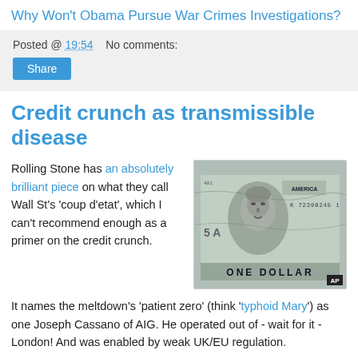Why Won't Obama Pursue War Crimes Investigations?
Posted @ 19:54   No comments:
Share
Credit crunch as transmissible disease
Rolling Stone has an absolutely brilliant piece on what they call Wall St's 'coup d'etat', which I can't recommend enough as a primer on the credit crunch.
[Figure (photo): Close-up photograph of a US one dollar bill, showing George Washington's portrait, crumpled and distorted. AP watermark in bottom right corner.]
It names the meltdown's 'patient zero' (think 'typhoid Mary') as one Joseph Cassano of AIG. He operated out of - wait for it - London! And was enabled by weak UK/EU regulation.